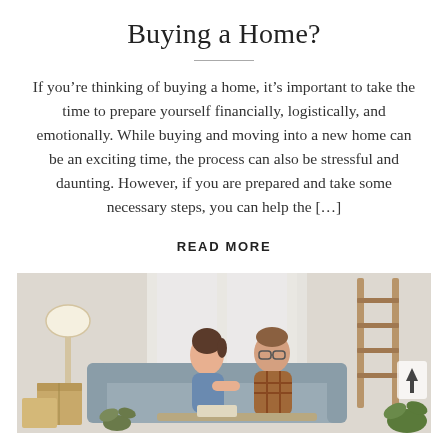Buying a Home?
If you’re thinking of buying a home, it’s important to take the time to prepare yourself financially, logistically, and emotionally. While buying and moving into a new home can be an exciting time, the process can also be stressful and daunting. However, if you are prepared and take some necessary steps, you can help the […]
READ MORE
[Figure (photo): A couple sitting on a couch among moving boxes, looking at each other and smiling, surrounded by cardboard boxes, a lamp, plants, and a wooden ladder in the background.]